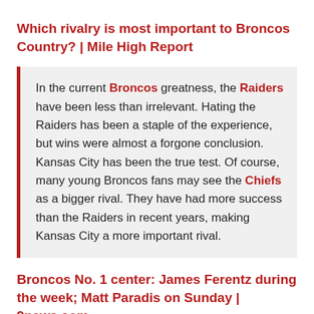Which rivalry is most important to Broncos Country? | Mile High Report
In the current Broncos greatness, the Raiders have been less than irrelevant. Hating the Raiders has been a staple of the experience, but wins were almost a forgone conclusion. Kansas City has been the true test. Of course, many young Broncos fans may see the Chiefs as a bigger rival. They have had more success than the Raiders in recent years, making Kansas City a more important rival.
Broncos No. 1 center: James Ferentz during the week; Matt Paradis on Sunday | 9news.com